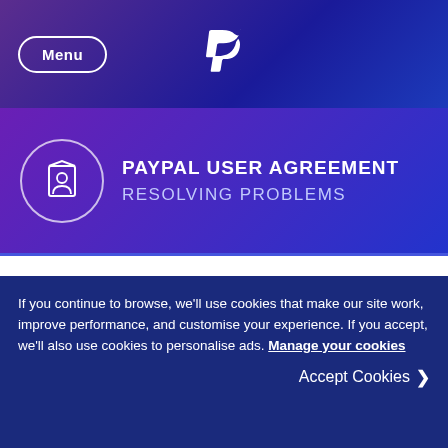Menu | PayPal
PAYPAL USER AGREEMENT
RESOLVING PROBLEMS
PayPal balance
The operational part of your account contains your PayPal balance, which is the balance of money available for...
If you continue to browse, we'll use cookies that make our site work, improve performance, and customise your experience. If you accept, we'll also use cookies to personalise ads. Manage your cookies
Accept Cookies >